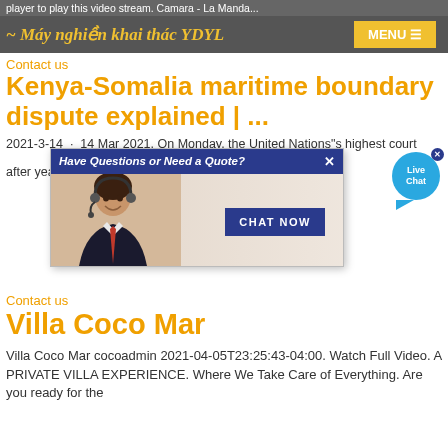player to play this video stream. Camara - La Manda...
Máy nghiền khai thác YDYL | MENU
Contact us
Kenya-Somalia maritime boundary dispute explained | ...
2021-3-14 · 14 Mar 2021. On Monday, the United Nations"s highest court ... maritime boundary disp... a, after years of delays in a...
[Figure (screenshot): Popup advertisement overlay showing 'Have Questions or Need a Quote?' with a woman wearing a headset and a 'CHAT NOW' button, plus a Live Chat bubble in top right]
Contact us
Villa Coco Mar
Villa Coco Mar cocoadmin 2021-04-05T23:25:43-04:00. Watch Full Video. A PRIVATE VILLA EXPERIENCE. Where We Take Care of Everything. Are you ready for the